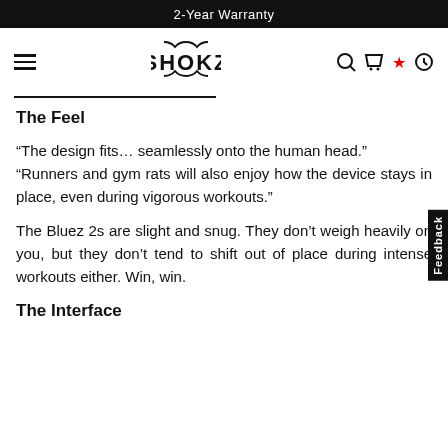2-Year Warranty
SHOKZ
The Feel
“The design fits… seamlessly onto the human head.” “Runners and gym rats will also enjoy how the device stays in place, even during vigorous workouts.”
The Bluez 2s are slight and snug. They don’t weigh heavily on you, but they don’t tend to shift out of place during intense workouts either. Win, win.
The Interface